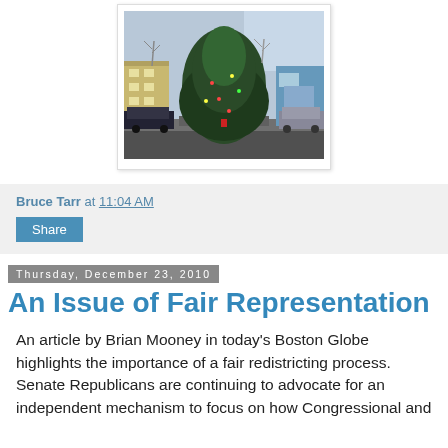[Figure (photo): Outdoor street scene showing a large evergreen tree decorated with lights in a parking area, with buildings and parked vehicles in the background, winter/bare trees visible.]
Bruce Tarr at 11:04 AM
Share
Thursday, December 23, 2010
An Issue of Fair Representation
An article by Brian Mooney in today's Boston Globe highlights the importance of a fair redistricting process. Senate Republicans are continuing to advocate for an independent mechanism to focus on how Congressional and